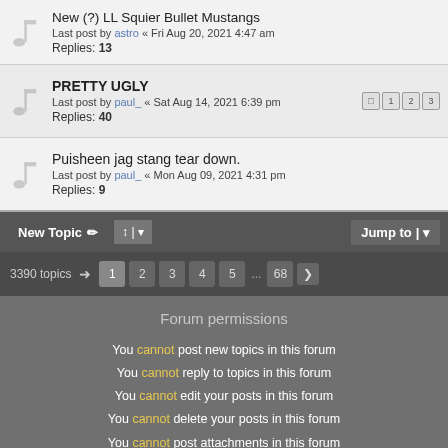New (?) LL Squier Bullet Mustangs - Last post by astro « Fri Aug 20, 2021 4:47 am - Replies: 13
PRETTY UGLY - Last post by paul_ « Sat Aug 14, 2021 6:39 pm - Replies: 40
Puisheen jag stang tear down. - Last post by paul_ « Mon Aug 09, 2021 4:31 pm - Replies: 9
New Topic | Jump to | 3390 topics 1 2 3 4 5 ... 68
Forum permissions
You cannot post new topics in this forum
You cannot reply to topics in this forum
You cannot edit your posts in this forum
You cannot delete your posts in this forum
You cannot post attachments in this forum
Powered by phpBB® Forum Software © phpBB Limited
Style forked by junkbox from 'Simplicity' by Arty/MrGaby
Privacy | Terms